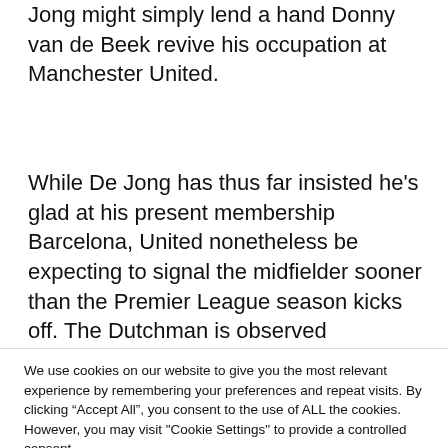Jong might simply lend a hand Donny van de Beek revive his occupation at Manchester United.
While De Jong has thus far insisted he’s glad at his present membership Barcelona, United nonetheless be expecting to signal the midfielder sooner than the Premier League season kicks off. The Dutchman is observed
We use cookies on our website to give you the most relevant experience by remembering your preferences and repeat visits. By clicking “Accept All”, you consent to the use of ALL the cookies. However, you may visit "Cookie Settings" to provide a controlled consent.